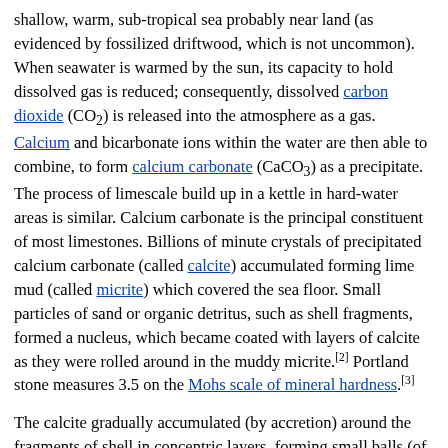shallow, warm, sub-tropical sea probably near land (as evidenced by fossilized driftwood, which is not uncommon). When seawater is warmed by the sun, its capacity to hold dissolved gas is reduced; consequently, dissolved carbon dioxide (CO2) is released into the atmosphere as a gas. Calcium and bicarbonate ions within the water are then able to combine, to form calcium carbonate (CaCO3) as a precipitate. The process of limescale build up in a kettle in hard-water areas is similar. Calcium carbonate is the principal constituent of most limestones. Billions of minute crystals of precipitated calcium carbonate (called calcite) accumulated forming lime mud (called micrite) which covered the sea floor. Small particles of sand or organic detritus, such as shell fragments, formed a nucleus, which became coated with layers of calcite as they were rolled around in the muddy micrite.[2] Portland stone measures 3.5 on the Mohs scale of mineral hardness.[3]
The calcite gradually accumulated (by accretion) around the fragments of shell in concentric layers, forming small balls (of less than 0.5 mm diameter). This process is similar to the way in which a snowball grows in size as it is rolled around in the snow. Over time, countless billions of these balls, known as "ooids" or "ooliths" (from the Greek for "egg-shaped" or "egg-stone"), became partially cemented together (or lithified) by more calcite, to form the oolitic limestone that is called Portland stone. The